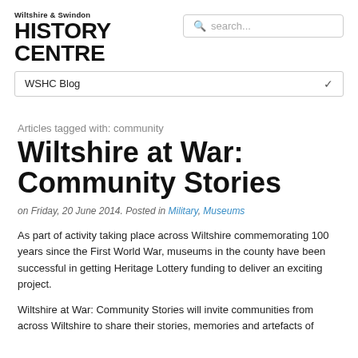Wiltshire & Swindon HISTORY CENTRE
[Figure (screenshot): Search box with magnifying glass icon and placeholder text 'search...']
WSHC Blog
Articles tagged with: community
Wiltshire at War: Community Stories
on Friday, 20 June 2014. Posted in Military, Museums
As part of activity taking place across Wiltshire commemorating 100 years since the First World War, museums in the county have been successful in getting Heritage Lottery funding to deliver an exciting project.
Wiltshire at War: Community Stories will invite communities from across Wiltshire to share their stories, memories and artefacts of